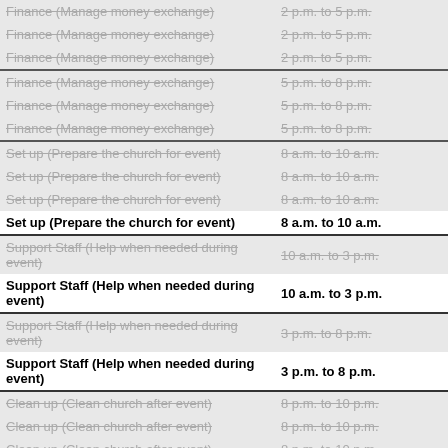| Role | Time |
| --- | --- |
| Finance (Manage money exchange) | 2 p.m. to 5 p.m. |
| Finance (Manage money exchange) | 2 p.m. to 5 p.m. |
| Finance (Manage money exchange) | 2 p.m. to 5 p.m. |
| Finance (Manage money exchange) | 5 p.m. to 8 p.m. |
| Finance (Manage money exchange) | 5 p.m. to 8 p.m. |
| Finance (Manage money exchange) | 5 p.m. to 8 p.m. |
| Set up (Prepare the church for event) | 8 a.m. to 10 a.m. |
| Set up (Prepare the church for event) | 8 a.m. to 10 a.m. |
| Set up (Prepare the church for event) | 8 a.m. to 10 a.m. |
| Set up (Prepare the church for event) | 8 a.m. to 10 a.m. |
| Support Staff (Help when needed during event) | 10 a.m. to 3 p.m. |
| Support Staff (Help when needed during event) | 10 a.m. to 3 p.m. |
| Support Staff (Help when needed during event) | 3 p.m. to 8 p.m. |
| Support Staff (Help when needed during event) | 3 p.m. to 8 p.m. |
| Clean up (Clean church after event) | 8 p.m. to 10 p.m. |
| Clean up (Clean church after event) | 8 p.m. to 10 p.m. |
| Clean up (Clean church after event) | 8 p.m. to 10 p.m. |
| Clean up (Clean church after event) | 8 p.m. to 10 p.m. |
| Clean up (Clean church after event) | 8 p.m. to 10 p.m. |
| Clean up (Clean church after event) | 8 p.m. to 10 p.m. |
Signup sheet manager: Gwendolyn Wagner.
© 2011 to 2022, VolunteerSignup.org | Help | FAQ | About | Terms and Conditions | Privacy Policy